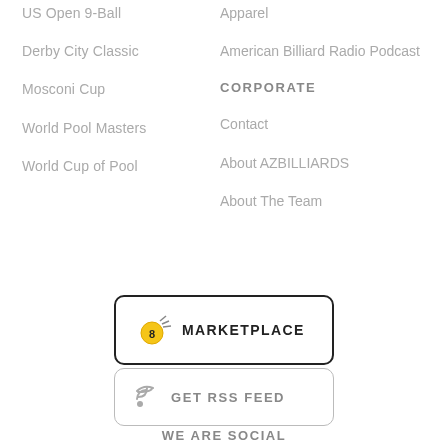US Open 9-Ball
Derby City Classic
Mosconi Cup
World Pool Masters
World Cup of Pool
Apparel
American Billiard Radio Podcast
CORPORATE
Contact
About AZBILLIARDS
About The Team
[Figure (other): Marketplace button with billiard ball logo and MARKETPLACE text]
[Figure (other): GET RSS FEED button with RSS icon]
WE ARE SOCIAL